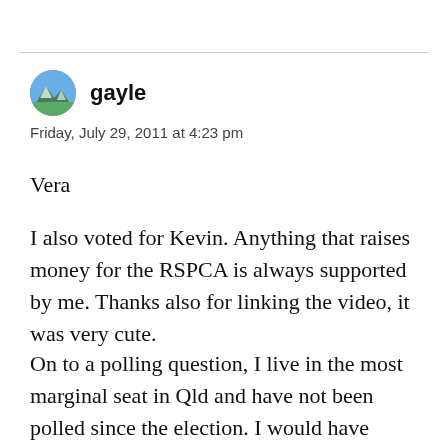gayle
Friday, July 29, 2011 at 4:23 pm
Vera
I also voted for Kevin. Anything that raises money for the RSPCA is always supported by me. Thanks also for linking the video, it was very cute.
On to a polling question, I live in the most marginal seat in Qld and have not been polled since the election. I would have thought this would be one seat that the polling companies